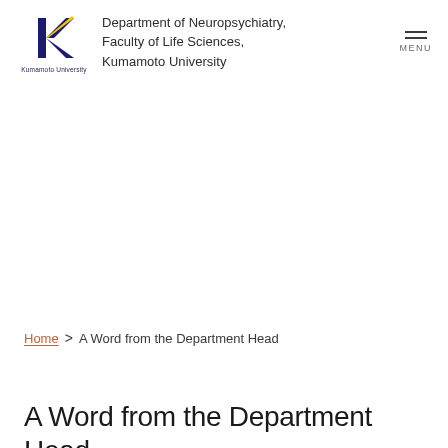Department of Neuropsychiatry, Faculty of Life Sciences, Kumamoto University
Home > A Word from the Department Head
A Word from the Department Head